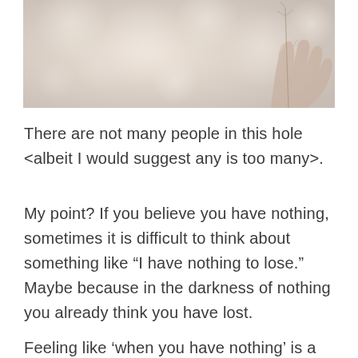[Figure (photo): Soft-focus photograph of a hand holding a delicate plant stem or branch against a blurry bokeh background in muted pinks, beiges, and creams.]
There are not many people in this hole <albeit I would suggest any is too many>.
My point? If you believe you have nothing, sometimes it is difficult to think about something like "I have nothing to lose." Maybe because in the darkness of nothing you already think you have lost.
Feeling like 'when you have nothing' is a